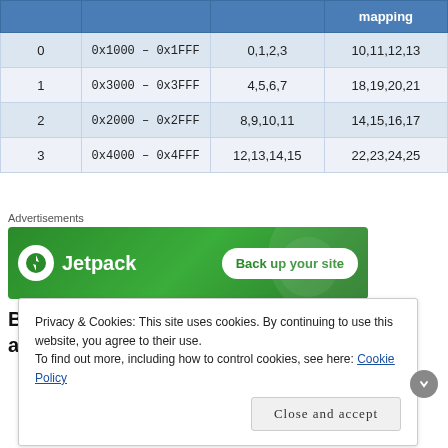|  |  |  | mapping |
| --- | --- | --- | --- |
| 0 | 0x1000 – 0x1FFF | 0,1,2,3 | 10,11,12,13 |
| 1 | 0x3000 – 0x3FFF | 4,5,6,7 | 18,19,20,21 |
| 2 | 0x2000 – 0x2FFF | 8,9,10,11 | 14,15,16,17 |
| 3 | 0x4000 – 0x4FFF | 12,13,14,15 | 22,23,24,25 |
[Figure (other): Jetpack advertisement banner with logo and 'Back up your site' button on green background]
Blindly splitting the 16K into 16 buffers and writing them
Privacy & Cookies: This site uses cookies. By continuing to use this website, you agree to their use.
To find out more, including how to control cookies, see here: Cookie Policy